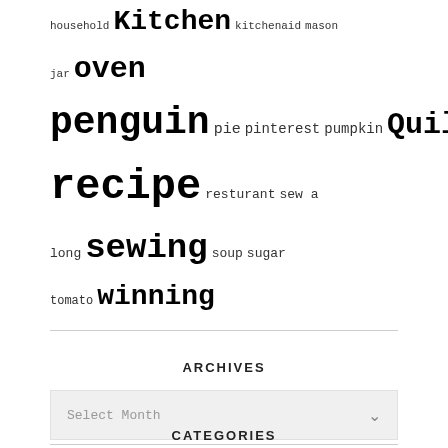household Kitchen kitchenaid mason jar oven penguin pie pinterest pumpkin Quilt quilting Quilts recipe resturant sew a long sewing soup sugar tomato winning
ARCHIVES
Select Month
CATEGORIES